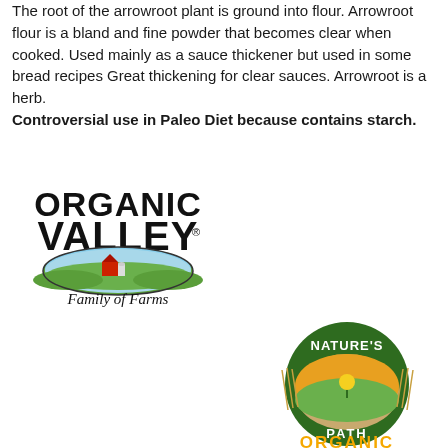The root of the arrowroot plant is ground into flour. Arrowroot flour is a bland and fine powder that becomes clear when cooked. Used mainly as a sauce thickener but used in some bread recipes Great thickening for clear sauces. Arrowroot is a herb. Controversial use in Paleo Diet because contains starch.
[Figure (logo): Organic Valley Family of Farms logo — black arched text 'ORGANIC VALLEY' above an oval farm scene illustration with red barn, fields, and sky, and cursive 'Family of Farms' script below]
[Figure (logo): Nature's Path Organic logo — circular dark green badge with wheat stalks, orange sunrise landscape oval in centre, white text 'NATURE'S PATH' at top and 'ORGANIC' in yellow-orange letters at bottom]